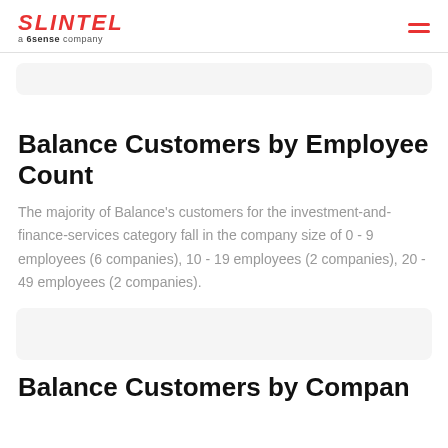SLINTEL a 6sense company
Balance Customers by Employee Count
The majority of Balance's customers for the investment-and-finance-services category fall in the company size of 0 - 9 employees (6 companies), 10 - 19 employees (2 companies), 20 - 49 employees (2 companies).
Balance Customers by Company...